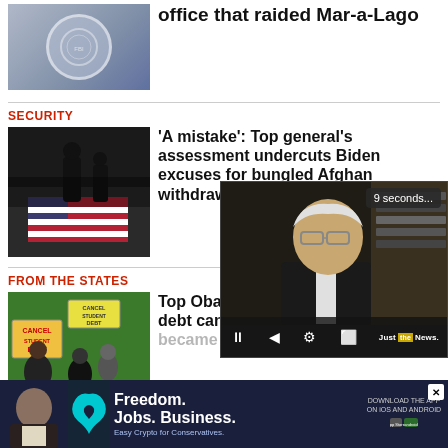[Figure (photo): FBI seal/logo image, partial view at top of page]
office that raided Mar-a-Lago
SECURITY
[Figure (photo): Military personnel with flag-draped coffin at airport]
'A mistake': Top general's assessment undercuts Biden excuses for bungled Afghan withdrawal
FROM THE STATES
[Figure (photo): Protesters holding signs saying CANCEL STUDENT DEBT, President Biden visible]
Top Obama economist blasts debt cancellation as became...
[Figure (screenshot): Video player overlay showing a man in glasses and suit speaking, with 9 seconds timer and video controls, Just the News logo]
[Figure (photo): Advertisement banner: Freedom. Jobs. Business. Easy Crypto for Conservatives. Download the app on iOS and Android.]